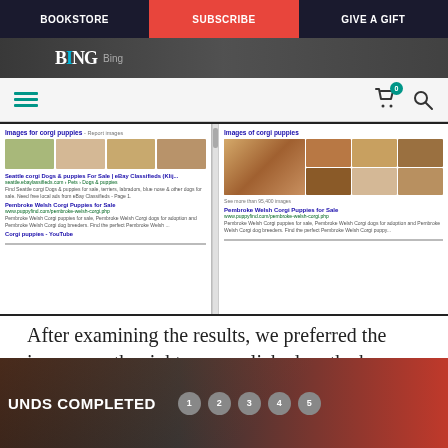BOOKSTORE | SUBSCRIBE | GIVE A GIFT
[Figure (screenshot): Side-by-side comparison of Google and Bing search results for 'corgi puppies', showing image results and web links]
After examining the results, we preferred the images on the right, so we clicked on the box above the right search engine, which we later discovered was Bing.
[Figure (screenshot): Bottom banner showing 'UNDS COMPLETED' with pagination dots 1 2 3 4 5 on a dark/red background]